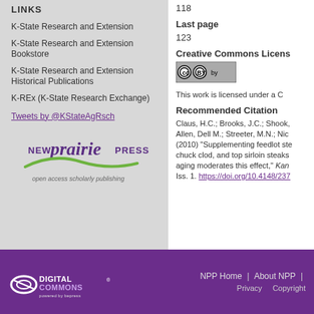LINKS
K-State Research and Extension
K-State Research and Extension Bookstore
K-State Research and Extension Historical Publications
K-REx (K-State Research Exchange)
Tweets by @KStateAgRsch
[Figure (logo): New Prairie Press logo with text 'NEW prairie PRESS open access scholarly publishing' and a green swoosh graphic]
118
Last page
123
Creative Commons License
[Figure (logo): Creative Commons BY license badge]
This work is licensed under a C
Recommended Citation
Claus, H.C.; Brooks, J.C.; Shook, Allen, Dell M.; Streeter, M.N.; Nic (2010) "Supplementing feedlot ste chuck clod, and top sirloin steaks aging moderates this effect," Kan Iss. 1. https://doi.org/10.4148/237
[Figure (logo): Digital Commons powered by bepress logo in white on purple background]
NPP Home | About NPP | Privacy | Copyright